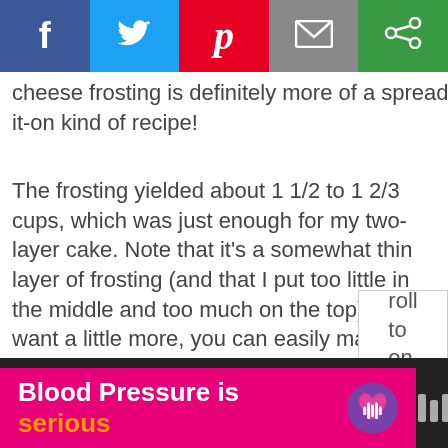[Figure (screenshot): Social media share buttons bar: Facebook (blue), Twitter (light blue), Pinterest (red), Email (grey), and another share option (green)]
cheese frosting is definitely more of a spread-it-on kind of recipe!
The frosting yielded about 1 1/2 to 1 2/3 cups, which was just enough for my two-layer cake. Note that it's a somewhat thin layer of frosting (and that I put too little in the middle and too much on the top). If you want a little more, you can easily make 50% more or you could just double it and use any leftovers on one of these grain-free goodies!
[Figure (screenshot): Partial scroll widget showing text 'roll to on']
[Figure (screenshot): Advertisement banner: 'Blood Pressure is serious' in pink/orange on magenta background with purple heart icon, and dark grey section on right]